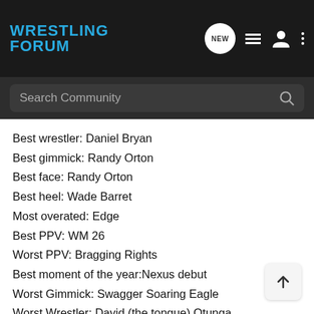Wrestling Forum — navigation bar with logo, NEW, list, user, and more icons; Search Community bar
Best wrestler: Daniel Bryan
Best gimmick: Randy Orton
Best face: Randy Orton
Best heel: Wade Barret
Most overated: Edge
Best PPV: WM 26
Worst PPV: Bragging Rights
Best moment of the year:Nexus debut
Worst Gimmick: Swagger Soaring Eagle
Worst Wrestler: David (the tongue) Otunga
Worst moment of the year: the mishandeling of Cena's fired storyline
Funniest moment of the year: The Genesis
Match of the year: HBK V Taker
Worst Match of the Year: Vince v Bret
Most overrated match of the year: Kane v Taker NOC…